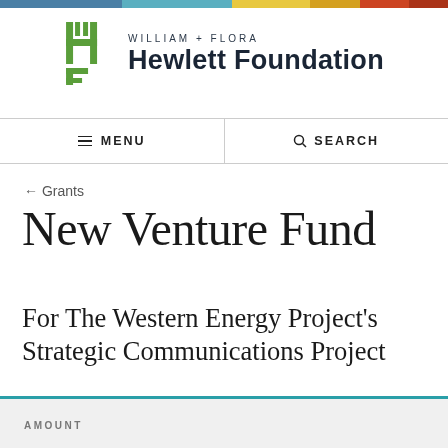[Figure (logo): William + Flora Hewlett Foundation logo with stylized H-F letterform in green and the foundation name in dark navy]
≡ MENU   🔍 SEARCH
← Grants
New Venture Fund
For The Western Energy Project's Strategic Communications Project
AMOUNT